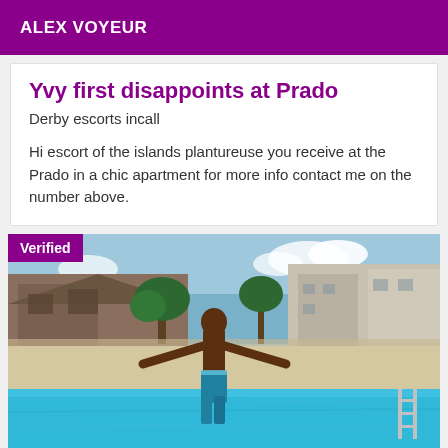ALEX VOYEUR
Yvy first disappoints at Prado
Derby escorts incall
Hi escort of the islands plantureuse you receive at the Prado in a chic apartment for more info contact me on the number above.
[Figure (photo): Person standing by a swimming pool with arms outstretched, back to the camera, with residential buildings and trees in the background. A 'Verified' badge overlays the top-left corner.]